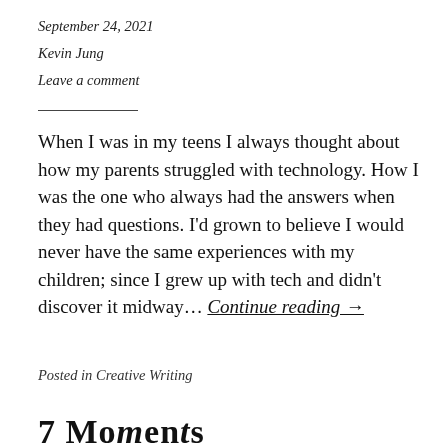September 24, 2021
Kevin Jung
Leave a comment
When I was in my teens I always thought about how my parents struggled with technology. How I was the one who always had the answers when they had questions. I'd grown to believe I would never have the same experiences with my children; since I grew up with tech and didn't discover it midway… Continue reading →
Posted in Creative Writing
7 Moments